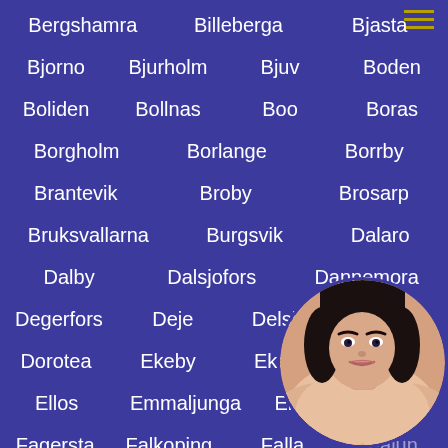Bergshamra
Billeberga
Bjasta
Bjorno
Bjurholm
Bjuv
Boden
Boliden
Bollnas
Boo
Boras
Borgholm
Borlange
Borrby
Brantevik
Broby
Brosarp
Bruksvallarna
Burgsvik
Dalaro
Dalby
Dalsjofors
Dannemora
Degerfors
Deje
Delsbo
Docksta
Dorotea
Ekeby
Ekero
Ellos
Emmaljunga
Enkoping
Fagersta
Falkoping
Falla
Falun
[Figure (photo): Circular avatar photo of a woman in the bottom right corner]